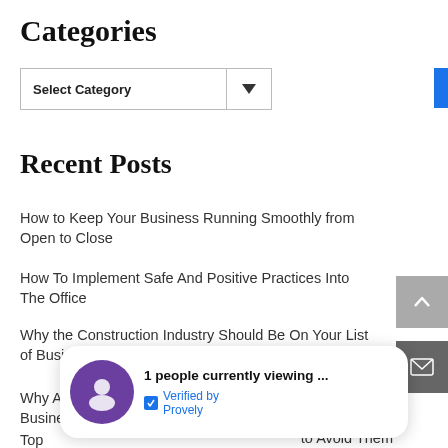Categories
[Figure (screenshot): Select Category dropdown widget with border and dropdown arrow]
Recent Posts
How to Keep Your Business Running Smoothly from Open to Close
How To Implement Safe And Positive Practices Into The Office
Why the Construction Industry Should Be On Your List of Business Opportunities
Why Automation Could Be Exactly What Your Business Needs
Top ... to Avoid Them
[Figure (screenshot): Notification popup showing '1 people currently viewing ...' with purple avatar icon and Verified by Provely badge]